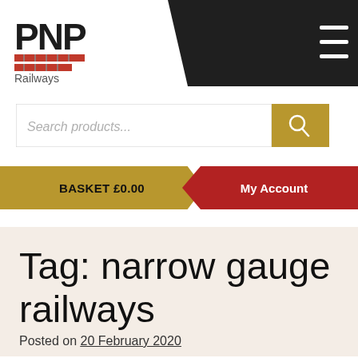[Figure (logo): PNP Railways logo with red horizontal stripes on dark header background with hamburger menu icon]
[Figure (screenshot): Search products input field with gold search button]
BASKET £0.00
My Account
Tag: narrow gauge railways
Posted on 20 February 2020